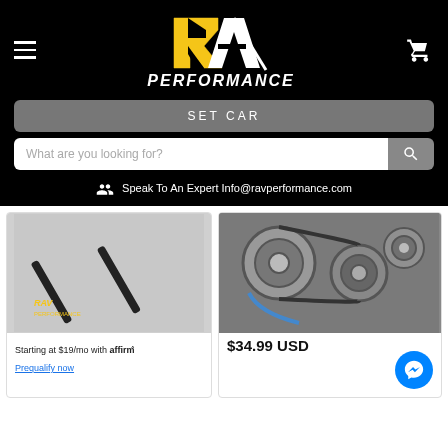[Figure (logo): RAV Performance logo with yellow R and white Performance text on black background]
SET CAR
What are you looking for?
Speak To An Expert Info@ravperformance.com
[Figure (photo): Black performance strut bars/rods with RAV Performance branding]
Starting at $19/mo with affirm. Prequalify now
[Figure (photo): Close-up of car engine pulleys and belts]
$34.99 USD